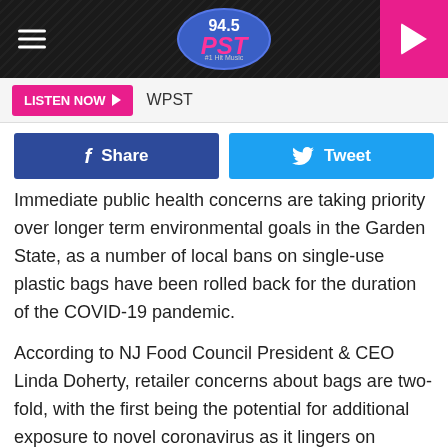[Figure (screenshot): 94.5 PST radio station logo in blue oval with pink PST text, hamburger menu icon on left, pink play button on right]
LISTEN NOW ▶  WPST
[Figure (infographic): Facebook Share button (dark blue) and Twitter Tweet button (light blue)]
Immediate public health concerns are taking priority over longer term environmental goals in the Garden State, as a number of local bans on single-use plastic bags have been rolled back for the duration of the COVID-19 pandemic.
According to NJ Food Council President & CEO Linda Doherty, retailer concerns about bags are two-fold, with the first being the potential for additional exposure to novel coronavirus as it lingers on surfaces for a varied amount of time.